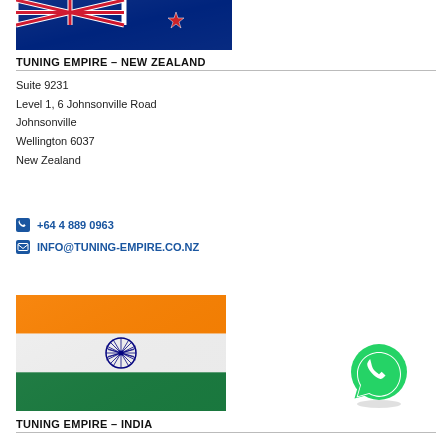[Figure (photo): New Zealand flag - blue background with Union Jack and red star]
TUNING EMPIRE – NEW ZEALAND
Suite 9231
Level 1, 6 Johnsonville Road
Johnsonville
Wellington 6037
New Zealand
+64 4 889 0963
INFO@TUNING-EMPIRE.CO.NZ
[Figure (photo): India flag - orange, white, and green horizontal stripes with blue Ashoka Chakra in center]
[Figure (logo): WhatsApp logo - green speech bubble with phone icon]
TUNING EMPIRE – INDIA